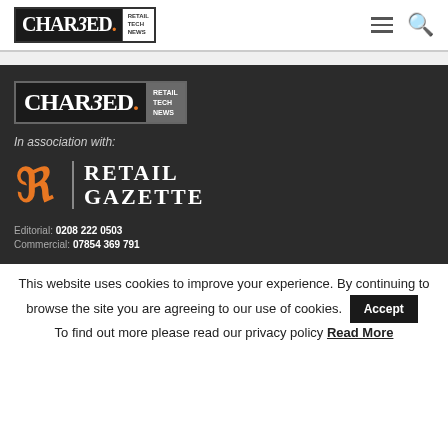[Figure (logo): CHARGED. RETAIL TECH NEWS logo in top navigation header bar, white background]
[Figure (logo): Hamburger menu and search icon in top right of header]
[Figure (logo): CHARGED. RETAIL TECH NEWS logo on dark background section]
In association with:
[Figure (logo): Retail Gazette logo with orange RG icon and white serif text on dark background]
Editorial: 0208 222 0503
Commercial: 07854 369 791
This website uses cookies to improve your experience. By continuing to browse the site you are agreeing to our use of cookies.   Accept   To find out more please read our privacy policy Read More